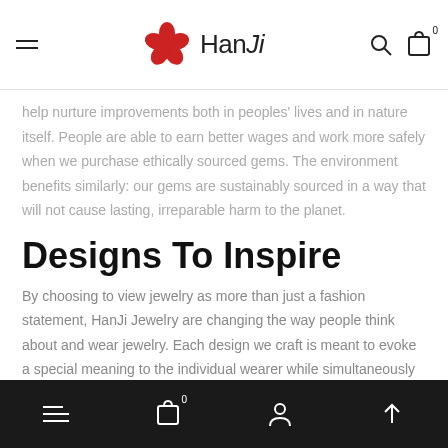HanJi (logo with navigation: menu, search, cart)
help nurture improvements both in peoples' lives and in nature itself. People are able to earn better wages and work more safely when we purchase ethically sourced gems. The environment benefits similarly: our gems are sustainably sourced in a way that will not cause lasting, irreparable harm to the planet.
Designs To Inspire
By choosing to view jewelry as more than just a fashion statement, HanJi Jewelry are changing the way people think about and wear jewelry. Each design we craft is meant to evoke a special meaning to the individual wearer while simultaneously showcasing the piece's exceptional craftsmanship.
Bottom navigation bar with menu, cart (0), account, and scroll-to-top icons